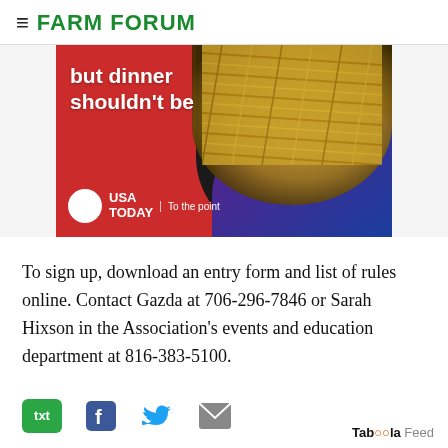FARM FORUM
[Figure (photo): USA Today advertisement featuring text 'but dinner shouldn't be' with a bowl of pasta and USA TODAY logo with tagline 'To the point' on red background]
To sign up, download an entry form and list of rules online. Contact Gazda at 706-296-7846 or Sarah Hixson in the Association's events and education department at 816-383-5100.
[Figure (infographic): Social sharing bar with SMS/txt, Facebook, Twitter, and email icons]
Taboola Feed